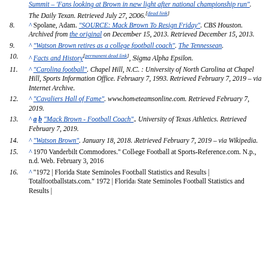^ Summit – 'Fans looking at Brown in new light after national championship run'. The Daily Texan. Retrieved July 27, 2006.[dead link]
8. ^ Spolane, Adam. "SOURCE: Mack Brown To Resign Friday". CBS Houston. Archived from the original on December 15, 2013. Retrieved December 15, 2013.
9. ^ "Watson Brown retires as a college football coach". The Tennessean.
10. ^ Facts and History[permanent dead link], Sigma Alpha Epsilon.
11. ^ "Carolina football". Chapel Hill, N.C. : University of North Carolina at Chapel Hill, Sports Information Office. February 7, 1993. Retrieved February 7, 2019 – via Internet Archive.
12. ^ "Cavaliers Hall of Fame". www.hometeamsonline.com. Retrieved February 7, 2019.
13. ^ a b "Mack Brown - Football Coach". University of Texas Athletics. Retrieved February 7, 2019.
14. ^ "Watson Brown". January 18, 2018. Retrieved February 7, 2019 – via Wikipedia.
15. ^ 1970 Vanderbilt Commodores." College Football at Sports-Reference.com. N.p., n.d. Web. February 3, 2016
16. ^ "1972 | Florida State Seminoles Football Statistics and Results | Totalfootballstats.com." 1972 | Florida State Seminoles Football Statistics and Results |